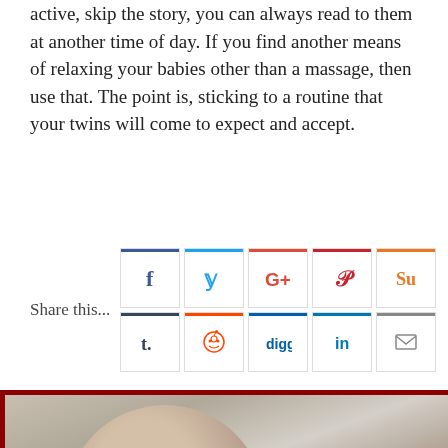active, skip the story, you can always read to them at another time of day. If you find another means of relaxing your babies other than a massage, then use that. The point is, sticking to a routine that your twins will come to expect and accept.
[Figure (infographic): Share this... buttons: Facebook (f), Twitter (bird), Google+ (G+), Pinterest (P), StumbleUpon (Su), Tumblr (t.), Reddit (alien), Digg (digg), LinkedIn (in), Email (envelope)]
[Figure (photo): Close-up photo of a person's face, appears to be a woman with dark hair, looking at camera, softly lit]